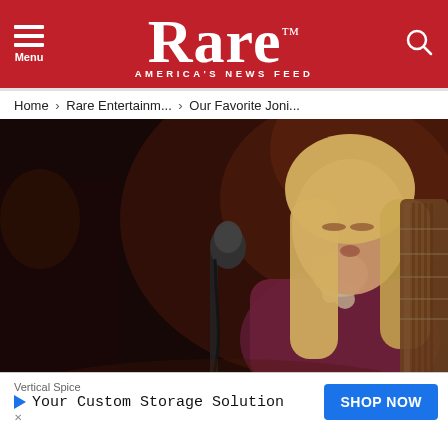Rare — America's News Feed
Home › Rare Entertainm... › Our Favorite Joni...
[Figure (photo): A blonde woman singing into a microphone on a dark stage, holding a guitar, wearing a purple top and large silver jewelry.]
Vertical Spice
Your Custom Storage Solution
SHOP NOW